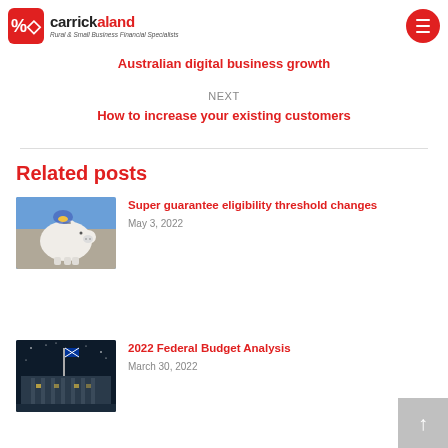carrickaland — Rural & Small Business Financial Specialists
Australian digital business growth
NEXT
How to increase your existing customers
Related posts
[Figure (photo): Person inserting coin into piggy bank]
Super guarantee eligibility threshold changes
May 3, 2022
[Figure (photo): Australian Parliament House at night]
2022 Federal Budget Analysis
March 30, 2022